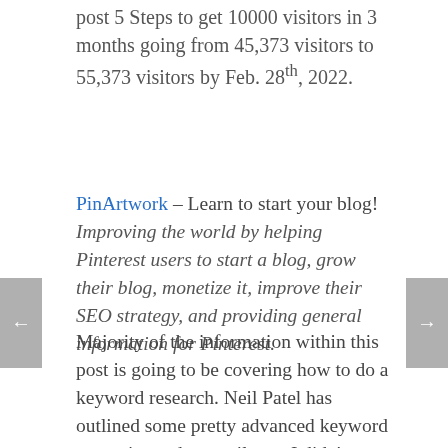post 5 Steps to get 10000 visitors in 3 months going from 45,373 visitors to 55,373 visitors by Feb. 28th, 2022.
PinArtwork – Learn to start your blog! Improving the world by helping Pinterest users to start a blog, grow their blog, monetize it, improve their SEO strategy, and providing general information for Pinterest.
Majority of the information within this post is going to be covering how to do a keyword research. Neil Patel has outlined some pretty advanced keyword strategies and up until now I didn't know how to truly use one of the best keyword planners. By the time that you're done with this post and you've